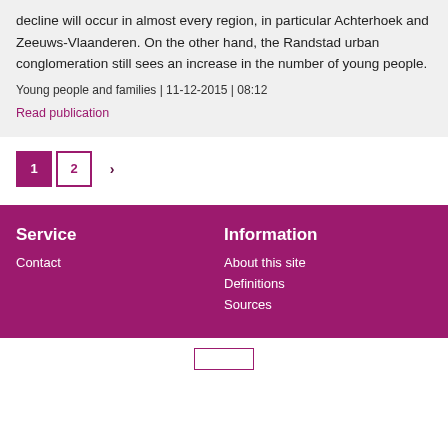decline will occur in almost every region, in particular Achterhoek and Zeeuws-Vlaanderen. On the other hand, the Randstad urban conglomeration still sees an increase in the number of young people.
Young people and families | 11-12-2015 | 08:12
Read publication
1 2 ›
Service
Contact
Information
About this site
Definitions
Sources